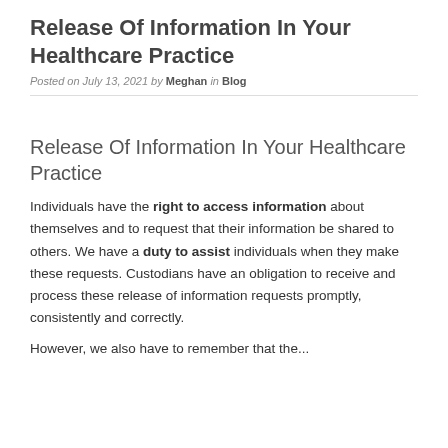Release Of Information In Your Healthcare Practice
Posted on July 13, 2021 by Meghan in Blog
Release Of Information In Your Healthcare Practice
Individuals have the right to access information about themselves and to request that their information be shared to others. We have a duty to assist individuals when they make these requests. Custodians have an obligation to receive and process these release of information requests promptly, consistently and correctly.